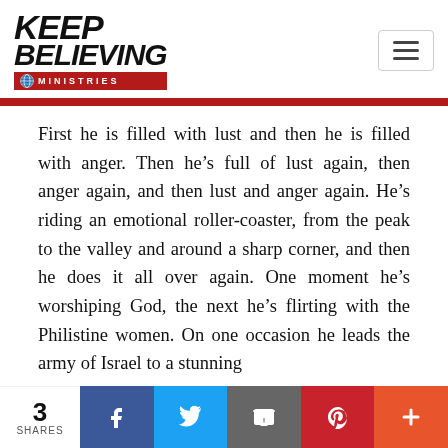[Figure (logo): Keep Believing Ministries logo with globe icon and red ministries bar]
First he is filled with lust and then he is filled with anger. Then he’s full of lust again, then anger again, and then lust and anger again. He’s riding an emotional roller-coaster, from the peak to the valley and around a sharp corner, and then he does it all over again. One moment he’s worshiping God, the next he’s flirting with the Philistine women. On one occasion he leads the army of Israel to a stunning
3 SHARES | Facebook | Twitter | Email | Pinterest | +